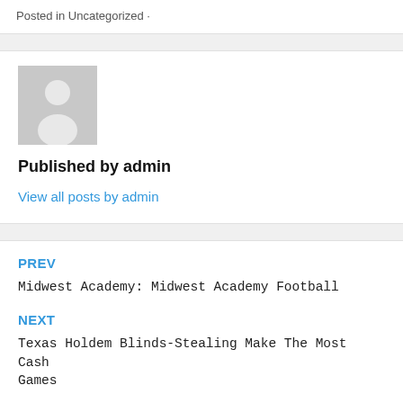Posted in Uncategorized ·
[Figure (illustration): Default user avatar placeholder — grey square with white silhouette of a person]
Published by admin
View all posts by admin
PREV
Midwest Academy: Midwest Academy Football
NEXT
Texas Holdem Blinds-Stealing Make The Most Cash Games